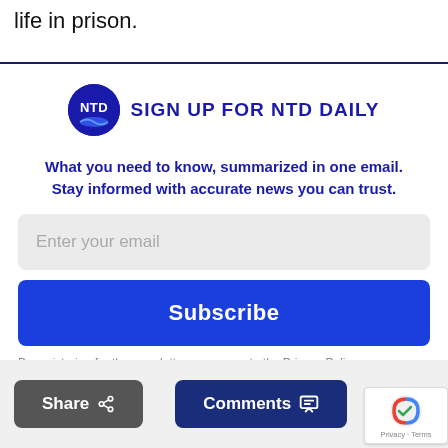life in prison.
[Figure (logo): NTD logo circle with NTD text and blue wave, followed by SIGN UP FOR NTD DAILY text]
What you need to know, summarized in one email. Stay informed with accurate news you can trust.
Enter your email
Subscribe
By registering for the newsletter, you agree to the Privacy Policy.
TOP
Share
Comments